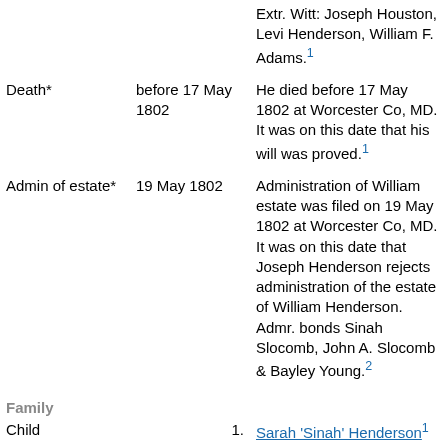| Field | Date | Details |
| --- | --- | --- |
|  |  | Extr. Witt: Joseph Houston, Levi Henderson, William F. Adams.[1] |
| Death* | before 17 May 1802 | He died before 17 May 1802 at Worcester Co, MD. It was on this date that his will was proved.[1] |
| Admin of estate* | 19 May 1802 | Administration of William estate was filed on 19 May 1802 at Worcester Co, MD. It was on this date that Joseph Henderson rejects administration of the estate of William Henderson. Admr. bonds Sinah Slocomb, John A. Slocomb & Bayley Young.[2] |
Family
Child
1. Sarah 'Sinah' Henderson [1]